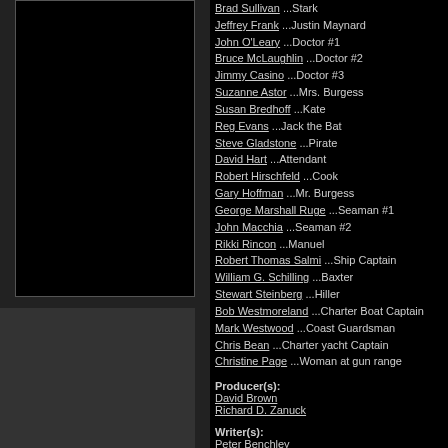[Figure (photo): Black rectangular image panel on the left side]
Brad Sullivan ...Stark
Jeffrey Frank ...Justin Maynard
John O'Leary ...Doctor #1
Bruce McLaughlin ...Doctor #2
Jimmy Casino ...Doctor #3
Suzanne Astor ...Mrs. Burgess
Susan Bredhoff ...Kate
Reg Evans ...Jack the Bat
Steve Gladstone ...Pirate
David Hart ...Attendant
Robert Hirschfeld ...Cook
Gary Hoffman ...Mr. Burgess
George Marshall Ruge ...Seaman #1
John Macchia ...Seaman #2
Rikki Rincon ...Manuel
Robert Thomas Salmi ...Ship Captain
William G. Schilling ...Baxter
Stewart Steinberg ...Hiller
Bob Westmoreland ...Charter Boat Captain
Mark Westwood ...Coast Guardsman
Chris Bean ...Charter yacht Captain
Christine Page ...Woman at gun range
Producer(s):
David Brown
Richard D. Zanuck
Writer(s):
Peter Benchley
Peter Benchley
Composer(s):